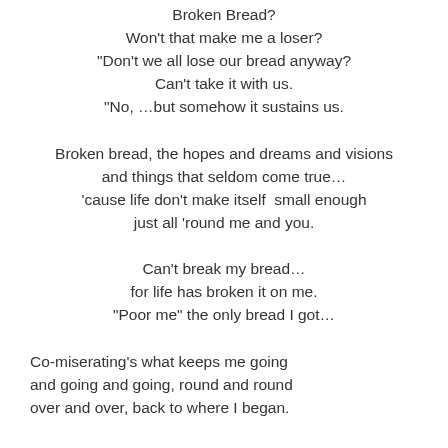Broken Bread?
Won't that make me a loser?
“Don't we all lose our bread anyway?
Can't take it with us.
“No, …but somehow it sustains us.

Broken bread, the hopes and dreams and visions
and things that seldom come true…
‘cause life don't make itself  small enough
just all ‘round me and you.

Can't break my bread…
for life has broken it on me.
“Poor me” the only bread I got…

Co-miserating's what keeps me going
and going and going, round and round
over and over, back to where I began.